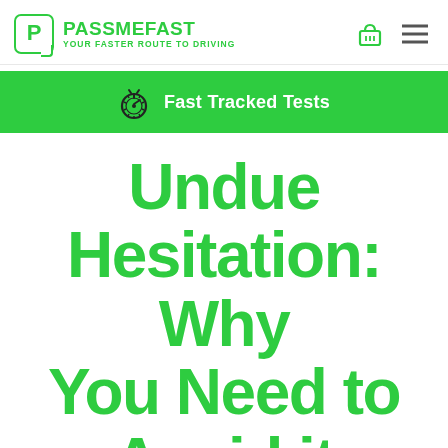PASS ME FAST — YOUR FASTER ROUTE TO DRIVING
Fast Tracked Tests
Undue Hesitation: Why You Need to Avoid it